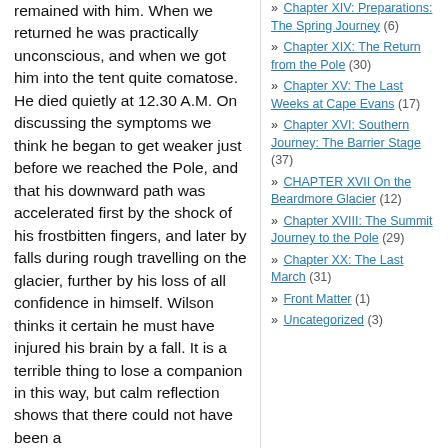remained with him. When we returned he was practically unconscious, and when we got him into the tent quite comatose. He died quietly at 12.30 A.M. On discussing the symptoms we think he began to get weaker just before we reached the Pole, and that his downward path was accelerated first by the shock of his frostbitten fingers, and later by falls during rough travelling on the glacier, further by his loss of all confidence in himself. Wilson thinks it certain he must have injured his brain by a fall. It is a terrible thing to lose a companion in this way, but calm reflection shows that there could not have been a
» Chapter XIV: Preparations: The Spring Journey (6)
» Chapter XIX: The Return from the Pole (30)
» Chapter XV: The Last Weeks at Cape Evans (17)
» Chapter XVI: Southern Journey: The Barrier Stage (37)
» CHAPTER XVII On the Beardmore Glacier (12)
» Chapter XVIII: The Summit Journey to the Pole (29)
» Chapter XX: The Last March (31)
» Front Matter (1)
» Uncategorized (3)